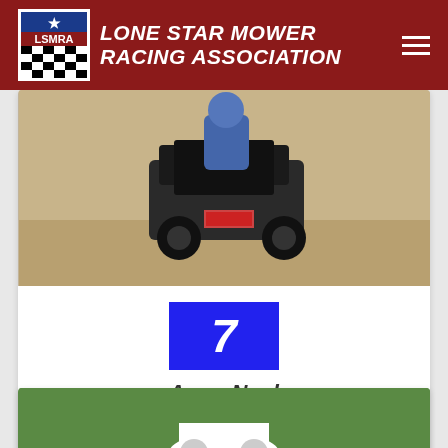[Figure (logo): Lone Star Mower Racing Association header with LSMRA logo on red background]
[Figure (photo): Racing mower viewed from behind on dirt track with rider]
7
Anna Neel
Snark
More Information
[Figure (photo): Partial view of second racing mower on green grass]